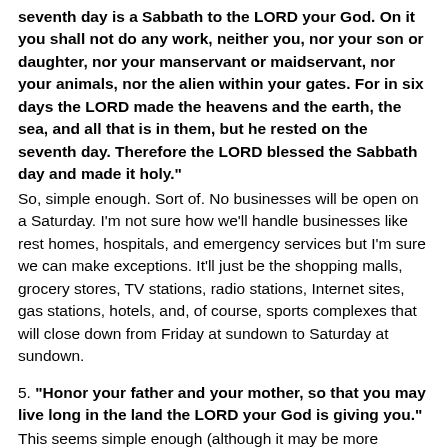seventh day is a Sabbath to the LORD your God. On it you shall not do any work, neither you, nor your son or daughter, nor your manservant or maidservant, nor your animals, nor the alien within your gates. For in six days the LORD made the heavens and the earth, the sea, and all that is in them, but he rested on the seventh day. Therefore the LORD blessed the Sabbath day and made it holy."
So, simple enough. Sort of. No businesses will be open on a Saturday. I'm not sure how we'll handle businesses like rest homes, hospitals, and emergency services but I'm sure we can make exceptions. It'll just be the shopping malls, grocery stores, TV stations, radio stations, Internet sites, gas stations, hotels, and, of course, sports complexes that will close down from Friday at sundown to Saturday at sundown.
5. "Honor your father and your mother, so that you may live long in the land the LORD your God is giving you."
This seems simple enough (although it may be more involved than merely sending a card on Mother's Day).
6. "You shall not murder."